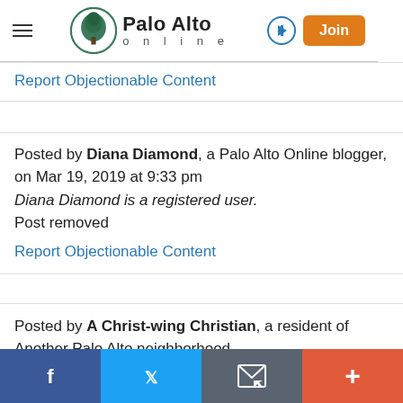[Figure (logo): Palo Alto Online logo with tree icon, hamburger menu, login arrow, and Join button]
Report Objectionable Content
Posted by Diana Diamond, a Palo Alto Online blogger, on Mar 19, 2019 at 9:33 pm
Diana Diamond is a registered user.
Post removed
Report Objectionable Content
Posted by A Christ-wing Christian, a resident of Another Palo Alto neighborhood,
[Figure (screenshot): Bottom social share bar with Facebook, Twitter, email, and plus buttons]